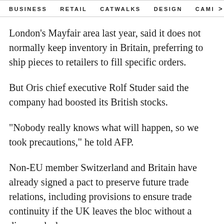BUSINESS   RETAIL   CATWALKS   DESIGN   CAMI >
London's Mayfair area last year, said it does not normally keep inventory in Britain, preferring to ship pieces to retailers to fill specific orders.
But Oris chief executive Rolf Studer said the company had boosted its British stocks.
"Nobody really knows what will happen, so we took precautions," he told AFP.
Non-EU member Switzerland and Britain have already signed a pact to preserve future trade relations, including provisions to ensure trade continuity if the UK leaves the bloc without a divorce deal.